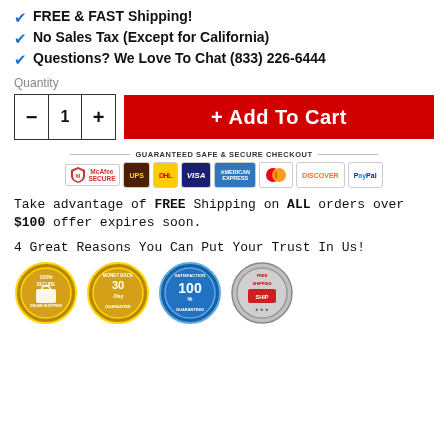FREE & FAST Shipping!
No Sales Tax (Except for California)
Questions? We Love To Chat (833) 226-6444
Quantity
[Figure (infographic): Quantity selector with minus button, number 1, plus button, and a red Add To Cart button]
[Figure (infographic): Guaranteed Safe & Secure Checkout banner with McAfee Secure, UPS, DHL, Visa, American Express, Mastercard, Discover, PayPal badges]
Take advantage of FREE Shipping on ALL orders over $100 offer expires soon.
4 Great Reasons You Can Put Your Trust In Us!
[Figure (infographic): Four trust badges: 100% Secure Online Shopping, 30-Day Money Back Guarantee, 100% Satisfaction Guaranteed, Free Shipping]